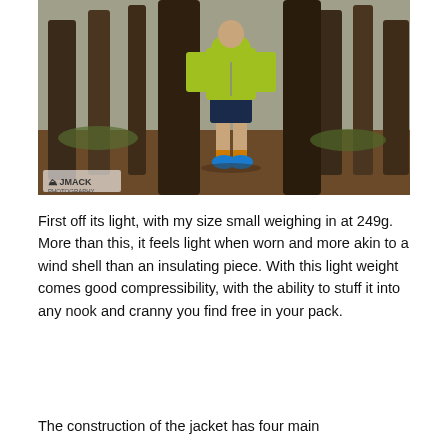[Figure (photo): A person wearing a yellow-green hooded jacket and dark shorts with blue trail running shoes, standing in a pine forest with brown leaf-covered ground. A JMACK Photography watermark is visible in the lower left corner.]
First off its light, with my size small weighing in at 249g. More than this, it feels light when worn and more akin to a wind shell than an insulating piece. With this light weight comes good compressibility, with the ability to stuff it into any nook and cranny you find free in your pack.
The construction of the jacket has four main